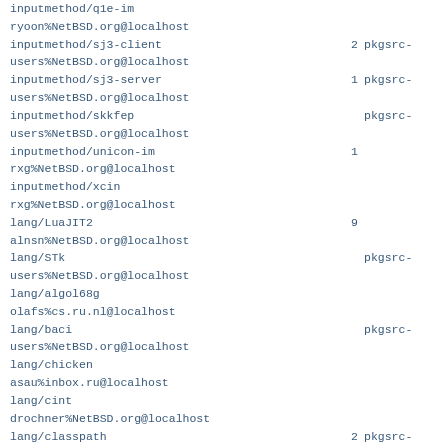inputmethod/q1e-im
ryoon%NetBSD.org@localhost
inputmethod/sj3-client                      2 pkgsrc-
users%NetBSD.org@localhost
inputmethod/sj3-server                      1 pkgsrc-
users%NetBSD.org@localhost
inputmethod/skkfep                            pkgsrc-
users%NetBSD.org@localhost
inputmethod/unicon-im                       1
rxg%NetBSD.org@localhost
inputmethod/xcin
rxg%NetBSD.org@localhost
lang/LuaJIT2                                9
alnsn%NetBSD.org@localhost
lang/STk                                      pkgsrc-
users%NetBSD.org@localhost
lang/algol68g
olafs%cs.ru.nl@localhost
lang/baci                                     pkgsrc-
users%NetBSD.org@localhost
lang/chicken
asau%inbox.ru@localhost
lang/cint
drochner%NetBSD.org@localhost
lang/classpath                              2 pkgsrc-
users%NetBSD.org@localhost
lang/cparser                                  pkgsrc-
users%NetBSD.org@localhost
lang/cu-prolog                                pkgsrc-
users%NetBSD.org@localhost
lang/g95                                    1